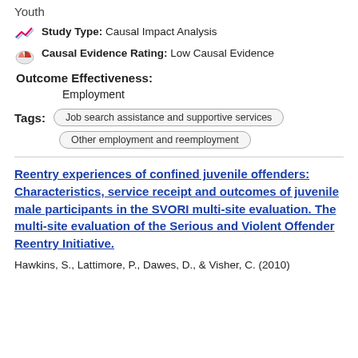Youth
Study Type: Causal Impact Analysis
Causal Evidence Rating: Low Causal Evidence
Outcome Effectiveness:
Employment
Tags: Job search assistance and supportive services | Other employment and reemployment
Reentry experiences of confined juvenile offenders: Characteristics, service receipt and outcomes of juvenile male participants in the SVORI multi-site evaluation. The multi-site evaluation of the Serious and Violent Offender Reentry Initiative.
Hawkins, S., Lattimore, P., Dawes, D., & Visher, C. (2010)